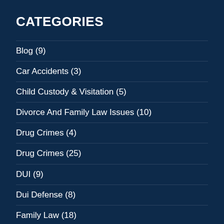CATEGORIES
Blog (9)
Car Accidents (3)
Child Custody & Visitation (5)
Divorce And Family Law Issues (10)
Drug Crimes (4)
Drug Crimes (25)
DUI (9)
Dui Defense (8)
Family Law (18)
Federal & White Collar Criminal Defense (13)
Felonies (16)